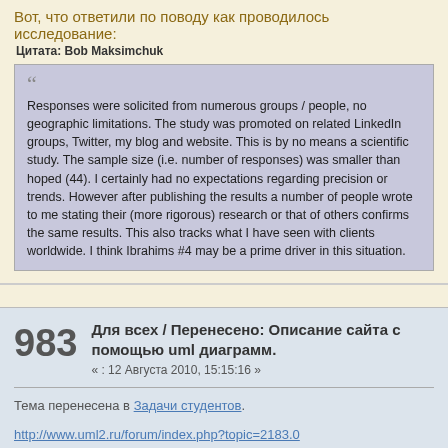Вот, что ответили по поводу как проводилось исследование:
Цитата: Bob Maksimchuk
Responses were solicited from numerous groups / people, no geographic limitations. The study was promoted on related LinkedIn groups, Twitter, my blog and website. This is by no means a scientific study. The sample size (i.e. number of responses) was smaller than hoped (44). I certainly had no expectations regarding precision or trends. However after publishing the results a number of people wrote to me stating their (more rigorous) research or that of others confirms the same results. This also tracks what I have seen with clients worldwide. I think Ibrahims #4 may be a prime driver in this situation.
Для всех / Перенесено: Описание сайта с помощью uml диаграмм.
« : 12 Августа 2010, 15:15:16 »
983
Тема перенесена в Задачи студентов.
http://www.uml2.ru/forum/index.php?topic=2183.0
О Сайте и Форуме / Re: Блог сообщества